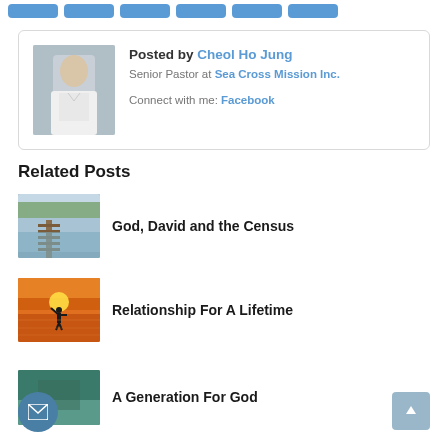[Figure (screenshot): Navigation button strip with 6 blue rounded buttons at the top of the page]
[Figure (photo): Author card with photo of Cheol Ho Jung (man in white shirt) and bio text]
Posted by Cheol Ho Jung
Senior Pastor at Sea Cross Mission Inc.
Connect with me: Facebook
Related Posts
[Figure (photo): Thumbnail photo of a wooden dock/pier over water for 'God, David and the Census' post]
God, David and the Census
[Figure (photo): Thumbnail photo of a silhouette person at sunset over water for 'Relationship For A Lifetime' post]
Relationship For A Lifetime
[Figure (photo): Thumbnail photo partially visible for 'A Generation For God' post]
A Generation For God